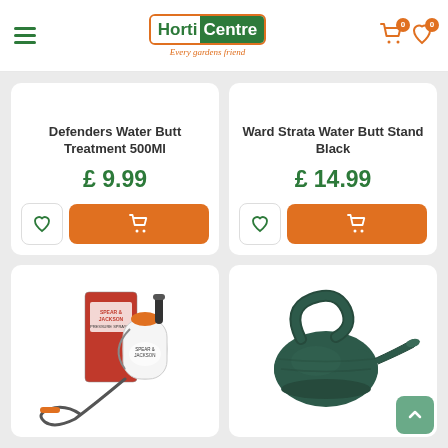HortiCentre – Every gardens friend
Defenders Water Butt Treatment 500Ml
£ 9.99
Ward Strata Water Butt Stand Black
£ 14.99
[Figure (photo): Spear & Jackson pressure sprayer with red and black box packaging and hose attachment]
[Figure (photo): Dark green plastic watering can with long spout and handle]